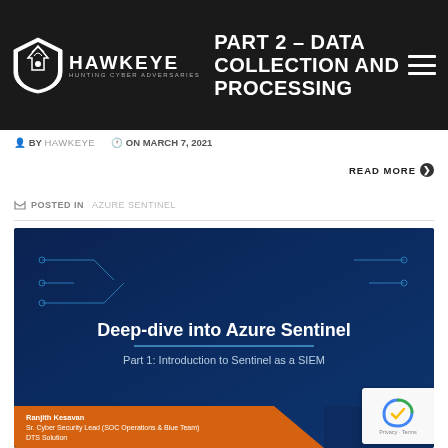DEEP-DIVE INTO AZURE PART 2 – DATA COLLECTION AND PROCESSING
BY HAWKEYE   ON MARCH 7, 2021
READ MORE ❯
POSTED IN AZURE SENTINEL
[Figure (screenshot): Presentation slide titled 'Deep-dive into Azure Sentinel' with subtitle 'Part 1: Introduction to Sentinel as a SIEM'. Speaker: Ranjith Kesavan, Sr. Cyber Security Lead (SOC Operations & Blue Team), DTS Solution. Dark blue background with circuit board pattern.]